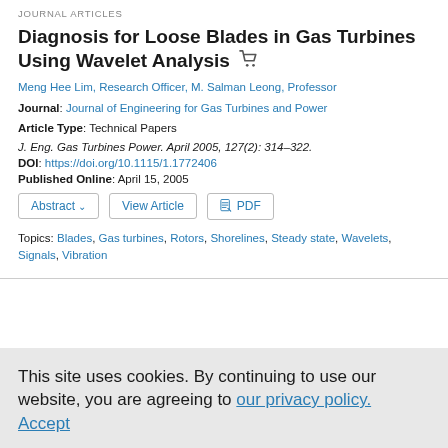JOURNAL ARTICLES
Diagnosis for Loose Blades in Gas Turbines Using Wavelet Analysis
Meng Hee Lim, Research Officer, M. Salman Leong, Professor
Journal: Journal of Engineering for Gas Turbines and Power
Article Type: Technical Papers
J. Eng. Gas Turbines Power. April 2005, 127(2): 314–322.
DOI: https://doi.org/10.1115/1.1772406
Published Online: April 15, 2005
Abstract  View Article  PDF
Topics: Blades, Gas turbines, Rotors, Shorelines, Steady state, Wavelets, Signals, Vibration
This site uses cookies. By continuing to use our website, you are agreeing to our privacy policy. Accept